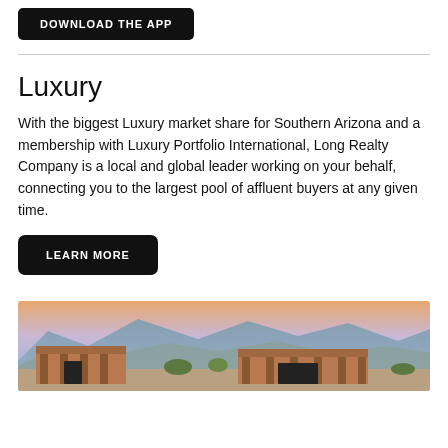DOWNLOAD THE APP
Luxury
With the biggest Luxury market share for Southern Arizona and a membership with Luxury Portfolio International, Long Realty Company is a local and global leader working on your behalf, connecting you to the largest pool of affluent buyers at any given time.
LEARN MORE
[Figure (photo): Exterior of a luxury Southwest-style home with a mountain range backdrop at sunset, featuring terracotta walls, brick columns, and desert landscaping.]